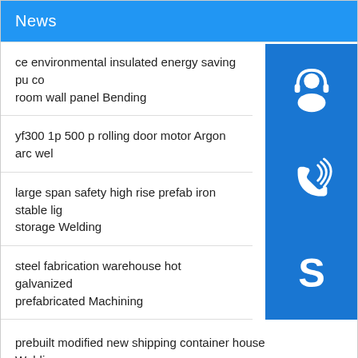News
ce environmental insulated energy saving pu co room wall panel Bending
yf300 1p 500 p rolling door motor Argon arc wel
large span safety high rise prefab iron stable lig storage Welding
steel fabrication warehouse hot galvanized prefabricated Machining
prebuilt modified new shipping container house Welding
office commercial hotel building Beveling
[Figure (infographic): Three stacked blue icon buttons: customer service headset icon, phone/call icon with signal waves, and Skype logo icon]